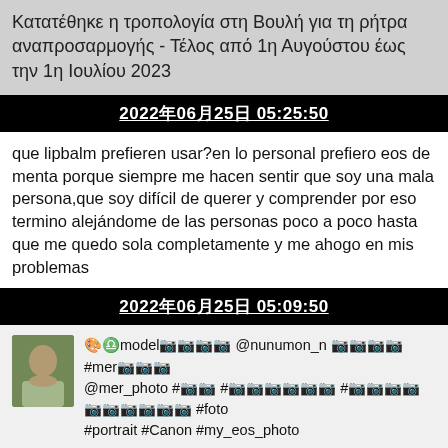Κατατέθηκε η τροπολογία στη Βουλή για τη ρήτρα αναπροσαρμογής - Τέλος από 1η Αυγούστου έως την 1η Ιουλίου 2023
2022年06月25日 05:25:50
que lipbalm prefieren usar?en lo personal prefiero eos de menta porque siempre me hacen sentir que soy una mala persona,que soy difícil de querer y comprender por eso termino alejándome de las personas poco a poco hasta que me quedo sola completamente y me ahogo en mis problemas
2022年06月25日 05:09:50
🎨♎model📷📷📷📷 @nunumon_n 📷📷📷📷 #mer📷📷📷 @mer_photo #📷📷 #📷📷📷📷📷📷 #📷📷📷📷📷📷📷📷📷📷 #foto #portrait #Canon #my_eos_photo
2022年06月25日 05:06:22